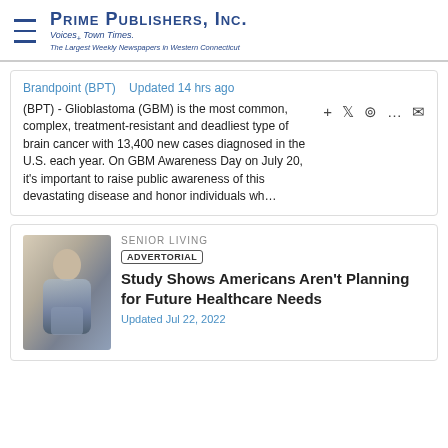Prime Publishers, Inc. — Voices • Town Times. The Largest Weekly Newspapers in Western Connecticut
Brandpoint (BPT)   Updated 14 hrs ago
(BPT) - Glioblastoma (GBM) is the most common, complex, treatment-resistant and deadliest type of brain cancer with 13,400 new cases diagnosed in the U.S. each year. On GBM Awareness Day on July 20, it's important to raise public awareness of this devastating disease and honor individuals wh…
[Figure (photo): Thumbnail photo of elderly person seated, warm indoor setting]
SENIOR LIVING
ADVERTORIAL
Study Shows Americans Aren't Planning for Future Healthcare Needs
Updated Jul 22, 2022